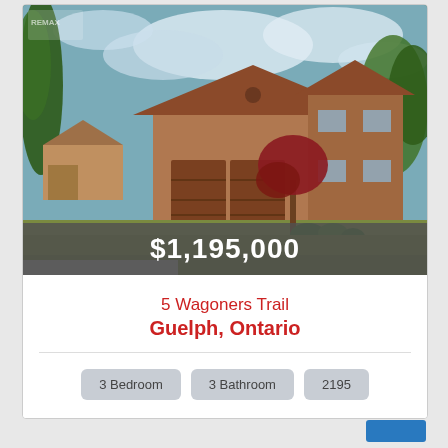[Figure (photo): Exterior photo of a two-storey brick house with double garage, red maple tree in front yard, lush green trees in background, at 5 Wagoners Trail, Guelph, Ontario. Price overlay showing $1,195,000 at the bottom of the photo.]
5 Wagoners Trail
Guelph, Ontario
3 Bedroom   3 Bathroom   2195